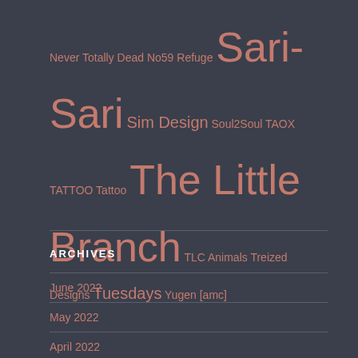Never Totally Dead No59 Refuge Sari-Sari Sim Design Soul2Soul TAOX TATTOO Tattoo The Little Branch TLC Animals Treized Designs Tuesdays Yugen [amc]
ARCHIVES
June 2022
May 2022
April 2022
March 2022